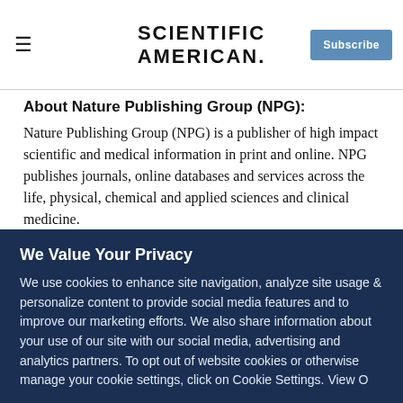Scientific American — Subscribe
About Nature Publishing Group (NPG):
Nature Publishing Group (NPG) is a publisher of high impact scientific and medical information in print and online. NPG publishes journals, online databases and services across the life, physical, chemical and applied sciences and clinical medicine.
Focusing on the needs of scientists, Nature (founded in 1869) is the leading weekly, international scientific journal. In
We Value Your Privacy
We use cookies to enhance site navigation, analyze site usage & personalize content to provide social media features and to improve our marketing efforts. We also share information about your use of our site with our social media, advertising and analytics partners. To opt out of website cookies or otherwise manage your cookie settings, click on Cookie Settings. View O